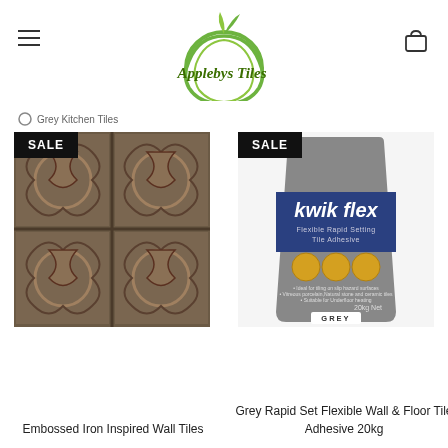Applebys Tiles — logo with hamburger menu and cart icon
Grey Kitchen Tiles
[Figure (photo): Embossed iron inspired decorative wall tiles with ornate scrollwork pattern in dark brown/bronze tones, 2x2 grid arrangement. SALE badge in top left corner.]
Embossed Iron Inspired Wall Tiles
[Figure (photo): Grey bag of kwik flex Flexible Rapid Setting Tile Adhesive 20kg with product icons and GREY label at bottom. SALE badge in top left corner.]
Grey Rapid Set Flexible Wall & Floor Tile Adhesive 20kg